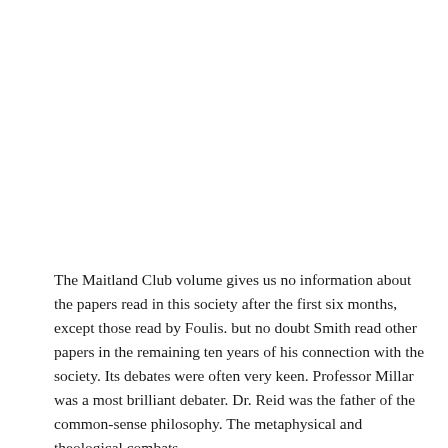The Maitland Club volume gives us no information about the papers read in this society after the first six months, except those read by Foulis. but no doubt Smith read other papers in the remaining ten years of his connection with the society. Its debates were often very keen. Professor Millar was a most brilliant debater. Dr. Reid was the father of the common-sense philosophy. The metaphysical and theological combats